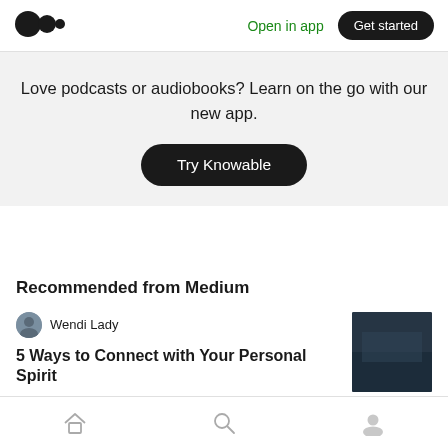Medium logo | Open in app | Get started
Love podcasts or audiobooks? Learn on the go with our new app.
Try Knowable
Recommended from Medium
Wendi Lady
5 Ways to Connect with Your Personal Spirit
Home | Search | Profile